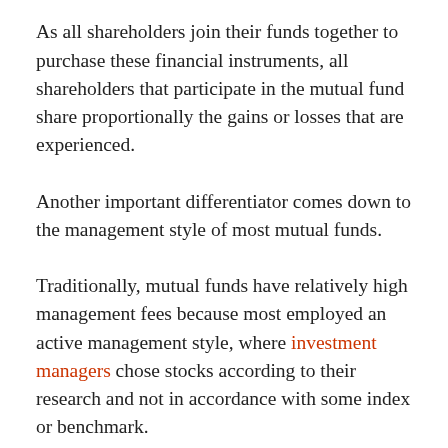bonds, and other securities.
As all shareholders join their funds together to purchase these financial instruments, all shareholders that participate in the mutual fund share proportionally the gains or losses that are experienced.
Another important differentiator comes down to the management style of most mutual funds.
Traditionally, mutual funds have relatively high management fees because most employed an active management style, where investment managers chose stocks according to their research and not in accordance with some index or benchmark.
This style of picking stock can not only lead to higher costs, but it can also show dramatic